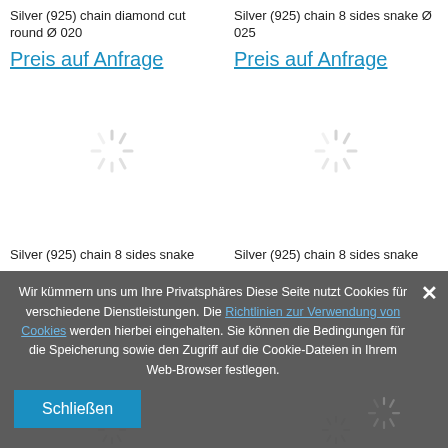Silver (925) chain diamond cut round Ø 020
Preis auf Anfrage
Silver (925) chain 8 sides snake Ø 025
Preis auf Anfrage
[Figure (illustration): Loading spinner icon (gray radial lines), left product]
[Figure (illustration): Loading spinner icon (gray radial lines), right product]
Silver (925) chain 8 sides snake
Silver (925) chain 8 sides snake
Wir kümmern uns um Ihre Privatsphäres Diese Seite nutzt Cookies für verschiedene Dienstleistungen. Die Richtlinien zur Verwendung von Cookies werden hierbei eingehalten. Sie können die Bedingungen für die Speicherung sowie den Zugriff auf die Cookie-Dateien in Ihrem Web-Browser festlegen.
Schließen
[Figure (illustration): Loading spinner icon bottom left]
[Figure (illustration): Loading spinner icon bottom right]